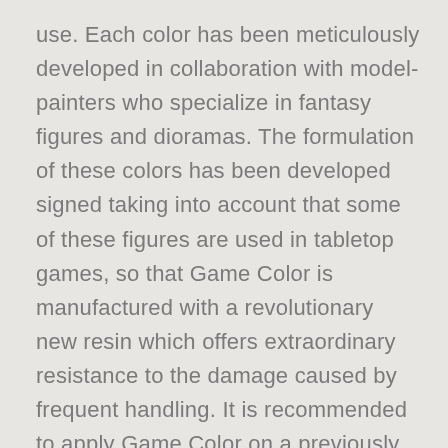use. Each color has been meticulously developed in collaboration with model-painters who specialize in fantasy figures and dioramas. The formulation of these colors has been developed signed taking into account that some of these figures are used in tabletop games, so that Game Color is manufactured with a revolutionary new resin which offers extraordinary resistance to the damage caused by frequent handling. It is recommended to apply Game Color on a previously primed surface. The colors dry rapidly and form a homogenous and self-leveling film while preserving even the smallest detail of a miniature. Game Color presents an extra ordinary adherence on all grounds, such as resin, plastic,